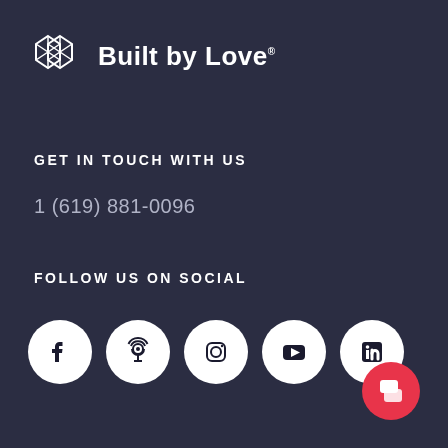[Figure (logo): Built by Love logo with geometric diamond/hexagon icon and text 'Built by Love']
GET IN TOUCH WITH US
1 (619) 881-0096
FOLLOW US ON SOCIAL
[Figure (illustration): Row of five social media icon circles: Facebook, Podcast/Apple Podcasts, Instagram, YouTube, LinkedIn]
[Figure (illustration): Red circular chat/support button in bottom right corner]